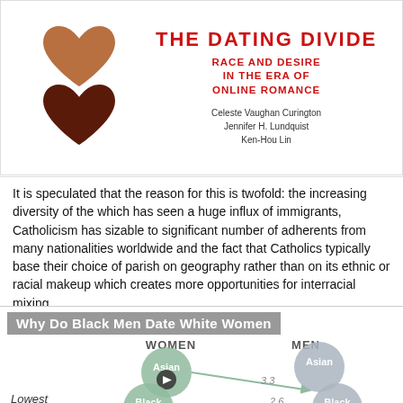[Figure (illustration): Book cover for 'The Dating Divide: Race and Desire in the Era of Online Romance' by Celeste Vaughan Curington, Jennifer H. Lundquist, Ken-Hou Lin. Features two heart shapes in brown tones on the left, title in red on the right.]
It is speculated that the reason for this is twofold: the increasing diversity of the which has seen a huge influx of immigrants, Catholicism has sizable to significant number of adherents from many nationalities worldwide and the fact that Catholics typically base their choice of parish on geography rather than on its ethnic or racial makeup which creates more opportunities for interracial mixing.
[Figure (infographic): Infographic titled 'Why Do Black Men Date White Women' showing bubble chart with WOMEN and MEN columns. Asian women bubble (green) and Asian men bubble (grey-blue) on top, Black women bubble (green) and Black men bubble (grey-blue) below. Arrow from Asian women to Black men area labeled 3.3. Label 'Lowest' on lower left. Value 2.6 partially visible at bottom right.]